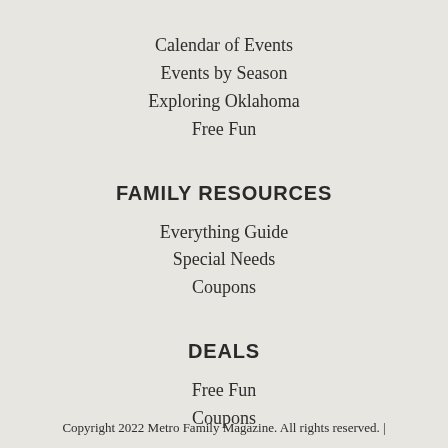Calendar of Events
Events by Season
Exploring Oklahoma
Free Fun
FAMILY RESOURCES
Everything Guide
Special Needs
Coupons
DEALS
Free Fun
Coupons
Copyright 2022 Metro Family Magazine. All rights reserved.  |